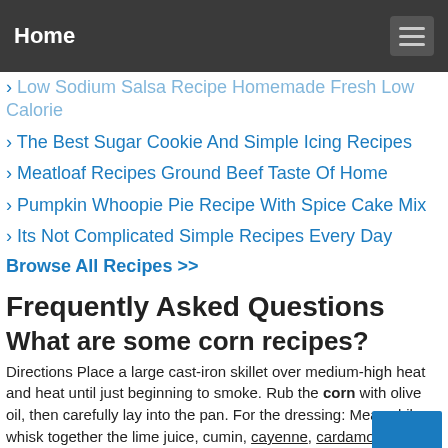Home
Low Sodium Salsa Recipe Homemade Fresh Low Calorie
The Best Sugar Cookie And Simple Icing Recipes
Meatloaf Recipes Ground Beef Taste Of Home
Pumpkin Whoopie Pie Recipe With Spice Cake Mix
Its Not Complicated Simple Recipes Every Day
Browse All Recipes >>
Frequently Asked Questions
What are some corn recipes?
Directions Place a large cast-iron skillet over medium-high heat and heat until just beginning to smoke. Rub the corn with olive oil, then carefully lay into the pan. For the dressing: Meanwhile, whisk together the lime juice, cumin, cayenne, cardamo... chaat masala and salt and black pepper to taste.